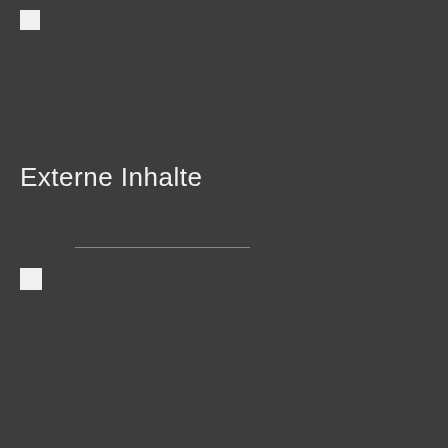[Figure (other): Small white square icon in upper left corner]
Externe Inhalte
[Figure (other): Horizontal divider line]
[Figure (other): Small white square icon below divider line]